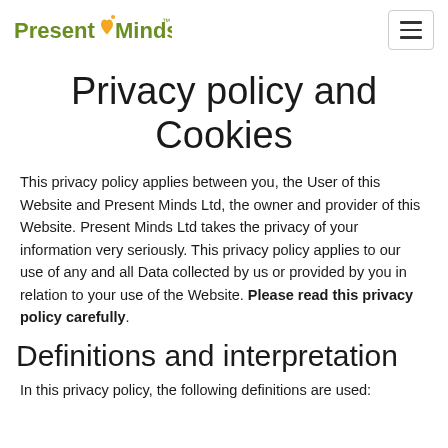Present Minds
Privacy policy and Cookies
This privacy policy applies between you, the User of this Website and Present Minds Ltd, the owner and provider of this Website. Present Minds Ltd takes the privacy of your information very seriously. This privacy policy applies to our use of any and all Data collected by us or provided by you in relation to your use of the Website. Please read this privacy policy carefully.
Definitions and interpretation
In this privacy policy, the following definitions are used: